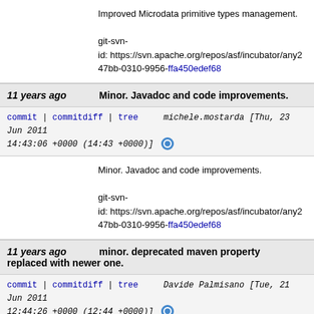Improved Microdata primitive types management.

git-svn-id: https://svn.apache.org/repos/asf/incubator/any2...47bb-0310-9956-ffa450edef68
11 years ago   Minor. Javadoc and code improvements.
commit | commitdiff | tree   michele.mostarda [Thu, 23 Jun 2011 14:43:06 +0000 (14:43 +0000)]
Minor. Javadoc and code improvements.

git-svn-id: https://svn.apache.org/repos/asf/incubator/any2...47bb-0310-9956-ffa450edef68
11 years ago   minor. deprecated maven property replaced with newer one.
commit | commitdiff | tree   Davide Palmisano [Tue, 21 Jun 2011 12:44:26 +0000 (12:44 +0000)]
minor. deprecated maven property replaced with n...

git-svn-id: https://svn.apache.org/repos/asf/incubator/any2...47bb-0310-9956-ffa450edef68